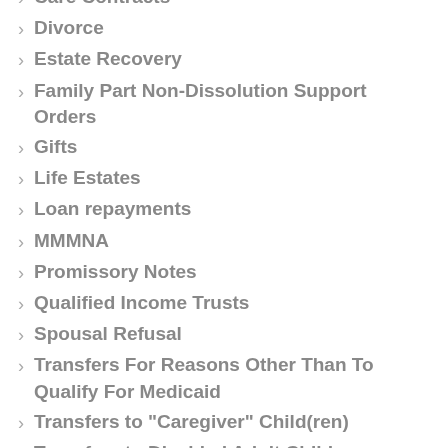Care Contracts
Divorce
Estate Recovery
Family Part Non-Dissolution Support Orders
Gifts
Life Estates
Loan repayments
MMMNA
Promissory Notes
Qualified Income Trusts
Spousal Refusal
Transfers For Reasons Other Than To Qualify For Medicaid
Transfers to "Caregiver" Child(ren)
Transfers to Disabled Adult Children